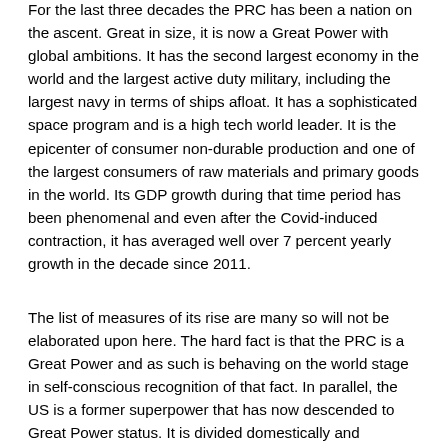For the last three decades the PRC has been a nation on the ascent. Great in size, it is now a Great Power with global ambitions. It has the second largest economy in the world and the largest active duty military, including the largest navy in terms of ships afloat. It has a sophisticated space program and is a high tech world leader. It is the epicenter of consumer non-durable production and one of the largest consumers of raw materials and primary goods in the world. Its GDP growth during that time period has been phenomenal and even after the Covid-induced contraction, it has averaged well over 7 percent yearly growth in the decade since 2011.
The list of measures of its rise are many so will not be elaborated upon here. The hard fact is that the PRC is a Great Power and as such is behaving on the world stage in self-conscious recognition of that fact. In parallel, the US is a former superpower that has now descended to Great Power status. It is divided domestically and diminished when it comes to its influence abroad. Some analysts inside and